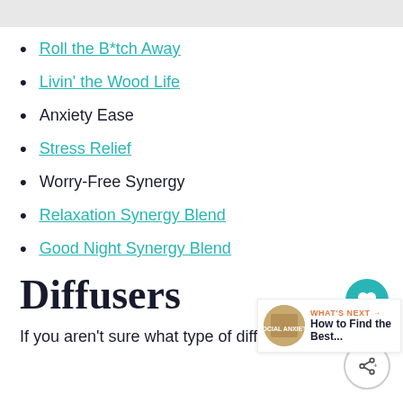Roll the B*tch Away
Livin' the Wood Life
Anxiety Ease
Stress Relief
Worry-Free Synergy
Relaxation Synergy Blend
Good Night Synergy Blend
Diffusers
If you aren't sure what type of diffuser to